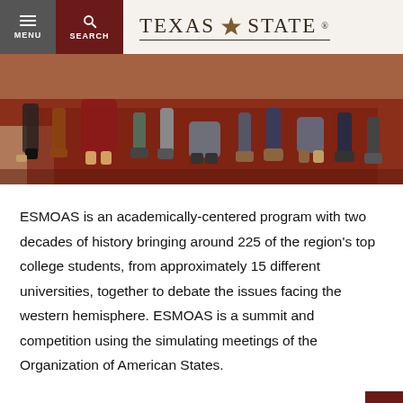MENU | SEARCH | TEXAS STATE
[Figure (photo): Overhead view of a group of college students sitting/kneeling together on a dark red/maroon carpeted floor, showing their lower bodies and feet.]
ESMOAS is an academically-centered program with two decades of history bringing around 225 of the region's top college students, from approximately 15 different universities, together to debate the issues facing the western hemisphere. ESMOAS is a summit and competition using the simulating meetings of the Organization of American States.